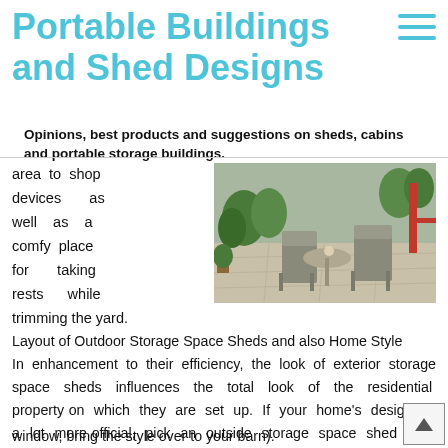Portable Buildings and Shed Designs
Opinions, best products and suggestions on sheds, cabins and portable storage buildings.
area to shop devices as well as a comfy place for taking rests while trimming the yard.
[Figure (photo): Outdoor patio area with metal folding chairs and a table on a concrete paved surface surrounded by potted plants and garden furniture]
Layout of Outdoor Storage Space Sheds and also Home Style In enhancement to their efficiency, the look of exterior storage space sheds influences the total look of the residential property on which they are set up. If your home's design is a lot more official, pick an outside storage space shed with official attributes to match (for circumstances, if your home has a curved home window, bring the style over to your barn).